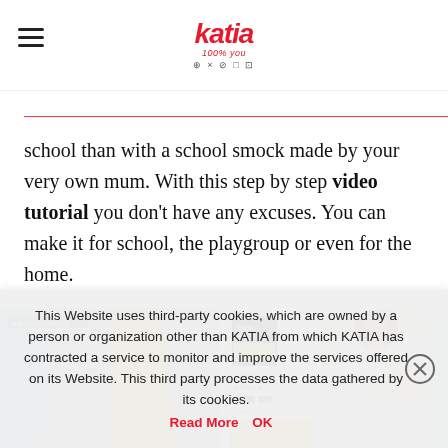Katia — 100% you (logo with social icons)
school than with a school smock made by your very own mum. With this step by step video tutorial you don't have any excuses. You can make it for school, the playgroup or even for the home.
[Figure (photo): Strip of three images showing school smock sewing project: left image shows blue and yellow fabric smocks on hangers, middle shows a sewing pattern booklet labeled 'School Smock', right shows a child wearing a colorful printed smock coat]
This Website uses third-party cookies, which are owned by a person or organization other than KATIA from which KATIA has contracted a service to monitor and improve the services offered on its Website. This third party processes the data gathered by its cookies. Read More OK